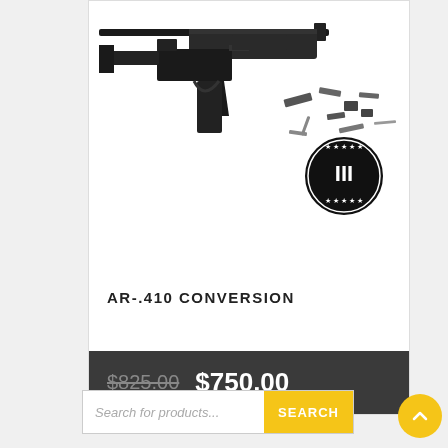[Figure (photo): AR-.410 conversion kit product photo showing an assembled AR-style rifle and scattered components/parts including a logo with Roman numeral III on a black and white circular seal]
AR-.410 CONVERSION
$825.00 $750.00
Search for products... SEARCH